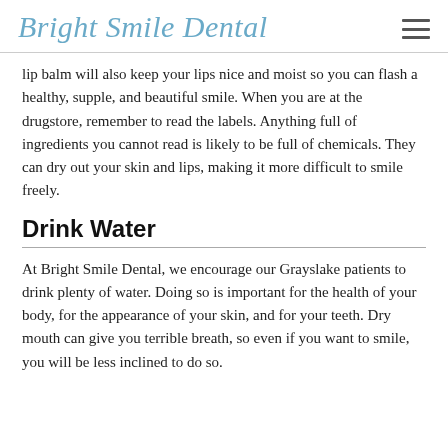Bright Smile Dental
lip balm will also keep your lips nice and moist so you can flash a healthy, supple, and beautiful smile. When you are at the drugstore, remember to read the labels. Anything full of ingredients you cannot read is likely to be full of chemicals. They can dry out your skin and lips, making it more difficult to smile freely.
Drink Water
At Bright Smile Dental, we encourage our Grayslake patients to drink plenty of water. Doing so is important for the health of your body, for the appearance of your skin, and for your teeth. Dry mouth can give you terrible breath, so even if you want to smile, you will be less inclined to do so.